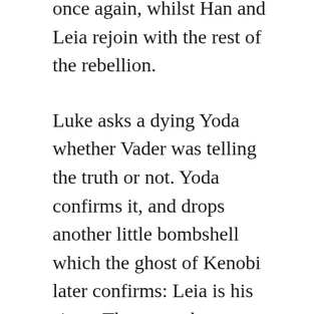once again, whilst Han and Leia rejoin with the rest of the rebellion.
Luke asks a dying Yoda whether Vader was telling the truth or not. Yoda confirms it, and drops another little bombshell which the ghost of Kenobi later confirms: Leia is his sister. They were born twins.
Kenobi reveals to Luke how he tried to train Anakin in the ways of the Force, and failed in the process. Anakin turned to the dark side, and in so doing took the rest of the Galaxy with him. He warns Luke of following in his Father’s footsteps.
“Your insight serves you well. Bury your feelings deep down, Luke. They do you credit, but they